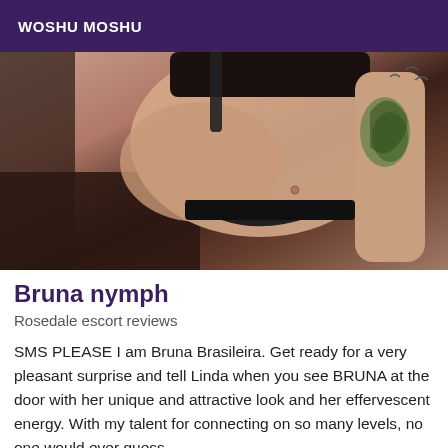WOSHU MOSHU
[Figure (photo): Photo of a person wearing black lingerie with visible tattoos on arm, posed indoors]
Bruna nymph
Rosedale escort reviews
SMS PLEASE I am Bruna Brasileira. Get ready for a very pleasant surprise and tell Linda when you see BRUNA at the door with her unique and attractive look and her effervescent energy. With my talent for connecting on so many levels, no one would ever guess